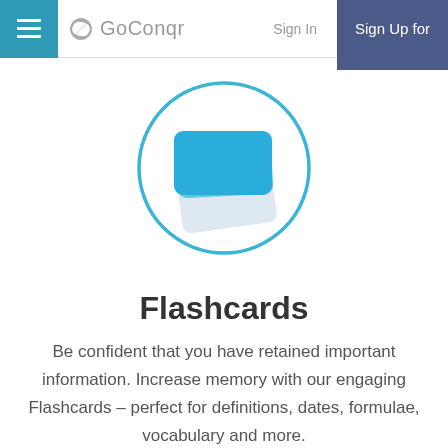GoConqr — Sign In | Sign Up for
[Figure (illustration): Flashcards icon: three overlapping blue rounded rectangles inside a light-blue outlined circle]
Flashcards
Be confident that you have retained important information. Increase memory with our engaging Flashcards – perfect for definitions, dates, formulae, vocabulary and more.